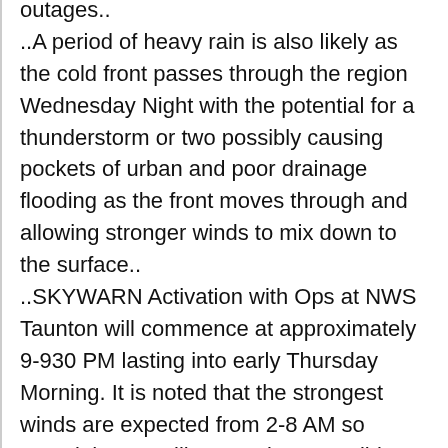outages..
..A period of heavy rain is also likely as the cold front passes through the region Wednesday Night with the potential for a thunderstorm or two possibly causing pockets of urban and poor drainage flooding as the front moves through and allowing stronger winds to mix down to the surface..
..SKYWARN Activation with Ops at NWS Taunton will commence at approximately 9-930 PM lasting into early Thursday Morning. It is noted that the strongest winds are expected from 2-8 AM so overnight ops will occur given possible wind damage issues..
The potential remains for strong to damaging winds across much of Southern New England as a strong cold front moves through the region after a day of unseasonably mild temperatures. A High Wind Warning remains in effect for Rhode Island, Southeast Massachusetts to include Bristol and Plymouth Counties and Cape Cod and the Islands from 8 PM...